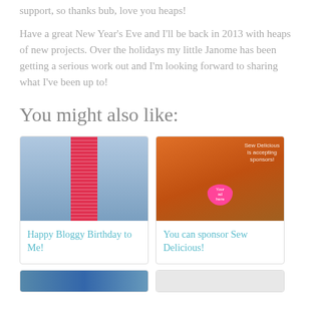support, so thanks bub, love you heaps!
Have a great New Year's Eve and I'll be back in 2013 with heaps of new projects. Over the holidays my little Janome has been getting a serious work out and I'm looking forward to sharing what I've been up to!
You might also like:
[Figure (photo): A denim skirt with red polka-dot trim hanging on display]
Happy Bloggy Birthday to Me!
[Figure (photo): A baby in an orange outfit with a pink heart-shaped sign; text overlay reads 'Sew Delicious is accepting sponsors!' and 'Your ad here']
You can sponsor Sew Delicious!